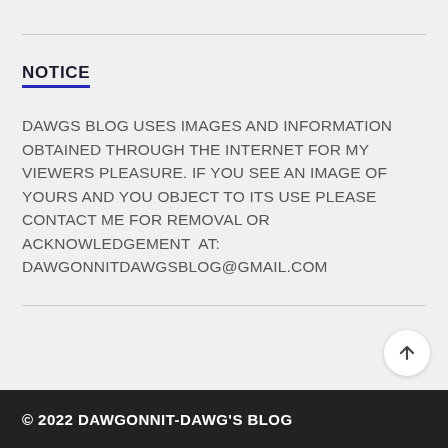NOTICE
DAWGS BLOG USES IMAGES AND INFORMATION OBTAINED THROUGH THE INTERNET FOR MY VIEWERS PLEASURE. IF YOU SEE AN IMAGE OF YOURS AND YOU OBJECT TO ITS USE PLEASE CONTACT ME FOR REMOVAL OR ACKNOWLEDGEMENT  AT: DAWGONNITDAWGSBLOG@GMAIL.COM
© 2022 DAWGONNIT-DAWG'S BLOG